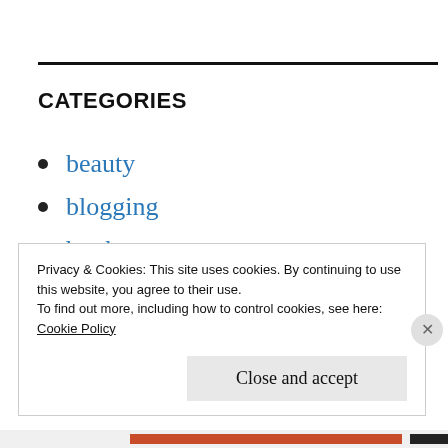CATEGORIES
beauty
blogging
books
breastfeeding
cardiff
competition
Privacy & Cookies: This site uses cookies. By continuing to use this website, you agree to their use.
To find out more, including how to control cookies, see here:
Cookie Policy
Close and accept